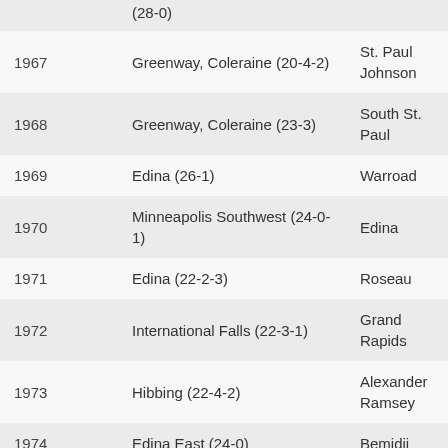| Year | Champion | Runner-up |
| --- | --- | --- |
|  | (28-0) |  |
| 1967 | Greenway, Coleraine (20-4-2) | St. Paul Johnson |
| 1968 | Greenway, Coleraine (23-3) | South St. Paul |
| 1969 | Edina (26-1) | Warroad |
| 1970 | Minneapolis Southwest (24-0-1) | Edina |
| 1971 | Edina (22-2-3) | Roseau |
| 1972 | International Falls (22-3-1) | Grand Rapids |
| 1973 | Hibbing (22-4-2) | Alexander Ramsey |
| 1974 | Edina East (24-0) | Bemidji |